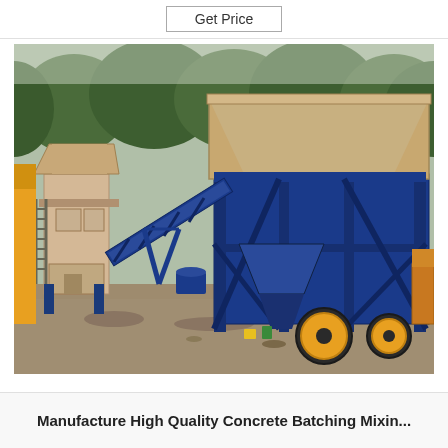Get Price
[Figure (photo): Photograph of a mobile concrete batching and mixing plant outdoors. The plant features a large blue steel frame structure on wheels with yellow tires, a beige/tan hopper on top, a blue inclined conveyor belt leading to a beige mixing tower on the left. Green trees are visible in the background. Construction debris and equipment are visible on the ground.]
Manufacture High Quality Concrete Batching Mixin...